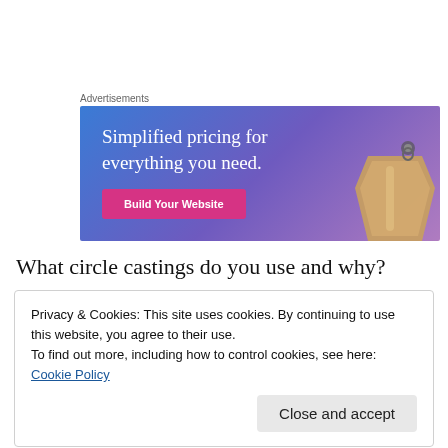Advertisements
[Figure (illustration): Advertisement banner with gradient blue-purple background, text 'Simplified pricing for everything you need.' a pink 'Build Your Website' button, and a price tag image on the right]
What circle castings do you use and why?
Privacy & Cookies: This site uses cookies. By continuing to use this website, you agree to their use.
To find out more, including how to control cookies, see here: Cookie Policy
Close and accept
[Figure (photo): Bottom portion of a photo, partially visible, dark brown tones]